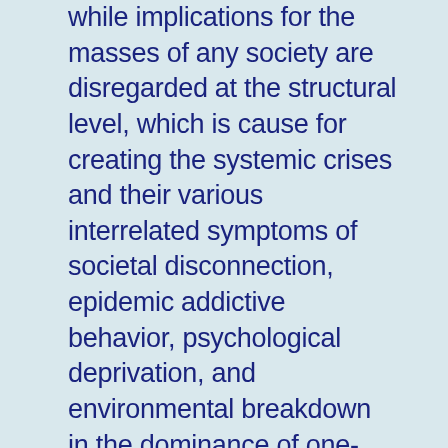while implications for the masses of any society are disregarded at the structural level, which is cause for creating the systemic crises and their various interrelated symptoms of societal disconnection, epidemic addictive behavior, psychological deprivation, and environmental breakdown in the dominance of one-sided energy. What is seemingly unconnected in this great web of life is closely interlinked and rooted in economic imperatives.